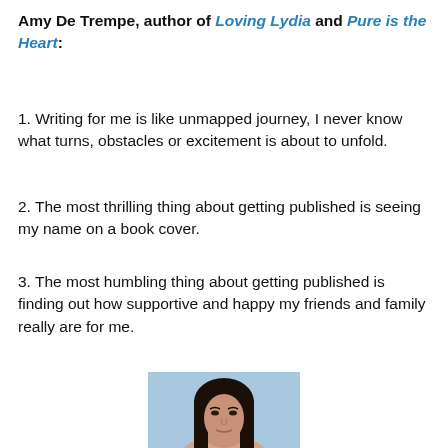Amy De Trempe, author of Loving Lydia and Pure is the Heart:
1. Writing for me is like unmapped journey, I never know what turns, obstacles or excitement is about to unfold.
2. The most thrilling thing about getting published is seeing my name on a book cover.
3. The most humbling thing about getting published is finding out how supportive and happy my friends and family really are for me.
[Figure (photo): Headshot photo of a woman with long dark hair against a light blue background]